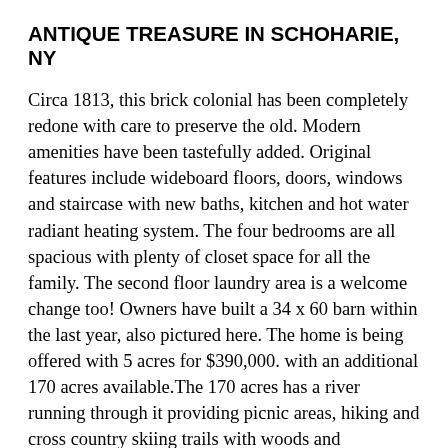ANTIQUE TREASURE IN SCHOHARIE, NY
Circa 1813, this brick colonial has been completely redone with care to preserve the old. Modern amenities have been tastefully added. Original features include wideboard floors, doors, windows and staircase with new baths, kitchen and hot water radiant heating system. The four bedrooms are all spacious with plenty of closet space for all the family. The second floor laundry area is a welcome change too! Owners have built a 34 x 60 barn within the last year, also pictured here. The home is being offered with 5 acres for $390,000. with an additional 170 acres available.The 170 acres has a river running through it providing picnic areas, hiking and cross country skiing trails with woods and